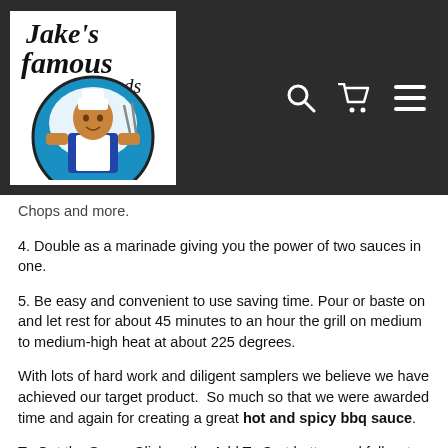[Figure (logo): Jake's Famous Foods logo with chef character and script text]
Chops and more.
4. Double as a marinade giving you the power of two sauces in one.
5. Be easy and convenient to use saving time. Pour or baste on and let rest for about 45 minutes to an hour the grill on medium to medium-high heat at about 225 degrees.
With lots of hard work and diligent samplers we believe we have achieved our target product.  So much so that we were awarded time and again for creating a great hot and spicy bbq sauce.
To Get the Sauce Click on the Add To Cart button and follow to